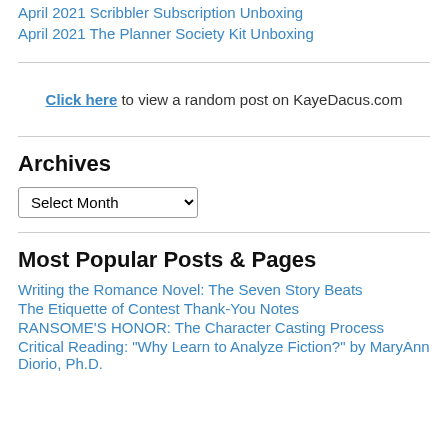April 2021 Scribbler Subscription Unboxing
April 2021 The Planner Society Kit Unboxing
Click here to view a random post on KayeDacus.com
Archives
Select Month (dropdown)
Most Popular Posts & Pages
Writing the Romance Novel: The Seven Story Beats
The Etiquette of Contest Thank-You Notes
RANSOME'S HONOR: The Character Casting Process
Critical Reading: "Why Learn to Analyze Fiction?" by MaryAnn Diorio, Ph.D.